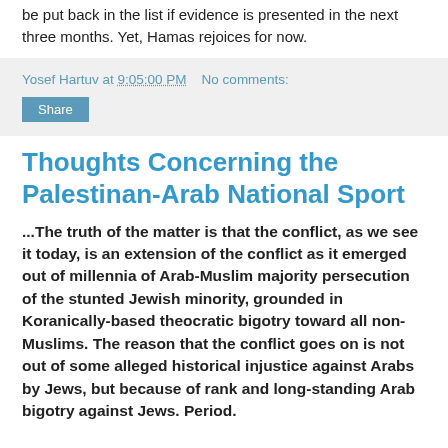be put back in the list if evidence is presented in the next three months. Yet, Hamas rejoices for now.
Yosef Hartuv at 9:05:00 PM   No comments:
Share
Thoughts Concerning the Palestinan-Arab National Sport
...The truth of the matter is that the conflict, as we see it today, is an extension of the conflict as it emerged out of millennia of Arab-Muslim majority persecution of the stunted Jewish minority, grounded in Koranically-based theocratic bigotry toward all non-Muslims. The reason that the conflict goes on is not out of some alleged historical injustice against Arabs by Jews, but because of rank and long-standing Arab bigotry against Jews. Period.